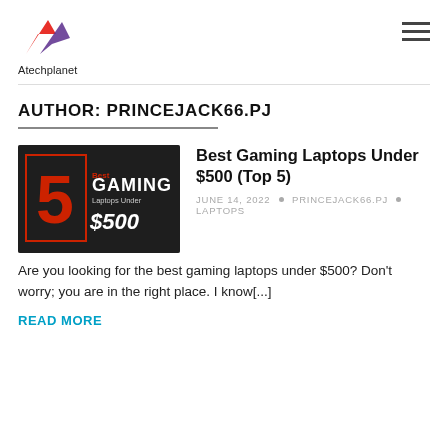Atechplanet
AUTHOR: PRINCEJACK66.PJ
[Figure (illustration): Gaming laptop promotional image with dark background, large red number 5, text GAMING and $500 with Laptops Under label]
Best Gaming Laptops Under $500 (Top 5)
JUNE 14, 2022 · PRINCEJACK66.PJ · LAPTOPS
Are you looking for the best gaming laptops under $500? Don't worry; you are in the right place. I know[...]
READ MORE